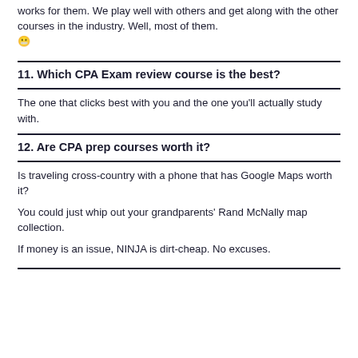works for them. We play well with others and get along with the other courses in the industry. Well, most of them. 😬
11. Which CPA Exam review course is the best?
The one that clicks best with you and the one you'll actually study with.
12. Are CPA prep courses worth it?
Is traveling cross-country with a phone that has Google Maps worth it?
You could just whip out your grandparents' Rand McNally map collection.
If money is an issue, NINJA is dirt-cheap. No excuses.